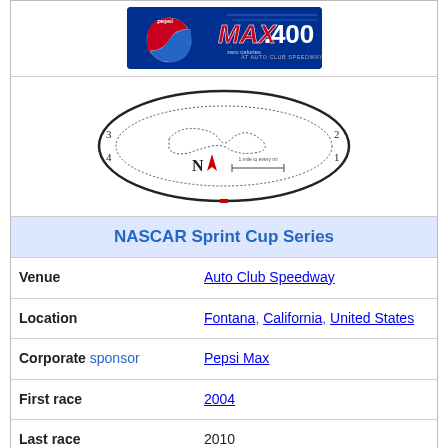[Figure (logo): Pepsi Max 400 race logo on dark blue background at Auto Club Speedway]
[Figure (engineering-diagram): Track map/layout diagram of Auto Club Speedway with compass rose (N) and turn numbers 1-4]
| NASCAR Sprint Cup Series |  |
| --- | --- |
| Venue | Auto Club Speedway |
| Location | Fontana, California, United States |
| Corporate sponsor | Pepsi Max |
| First race | 2004 |
| Last race | 2010 |